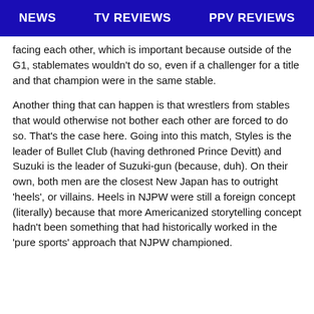NEWS   TV REVIEWS   PPV REVIEWS
facing each other, which is important because outside of the G1, stablemates wouldn't do so, even if a challenger for a title and that champion were in the same stable.
Another thing that can happen is that wrestlers from stables that would otherwise not bother each other are forced to do so. That's the case here. Going into this match, Styles is the leader of Bullet Club (having dethroned Prince Devitt) and Suzuki is the leader of Suzuki-gun (because, duh). On their own, both men are the closest New Japan has to outright 'heels', or villains. Heels in NJPW were still a foreign concept (literally) because that more Americanized storytelling concept hadn't been something that had historically worked in the 'pure sports' approach that NJPW championed.